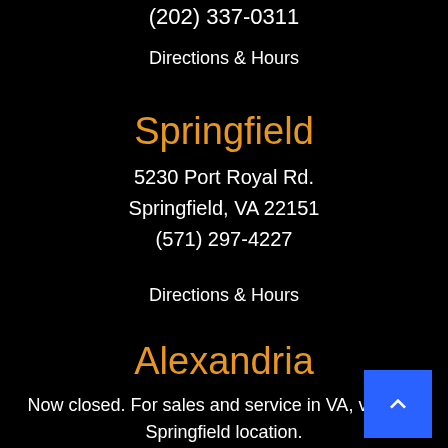(202) 337-0311
Directions & Hours
Springfield
5230 Port Royal Rd.
Springfield, VA 22151
(571) 297-4227
Directions & Hours
Alexandria
Now closed. For sales and service in VA, visit our Springfield location.